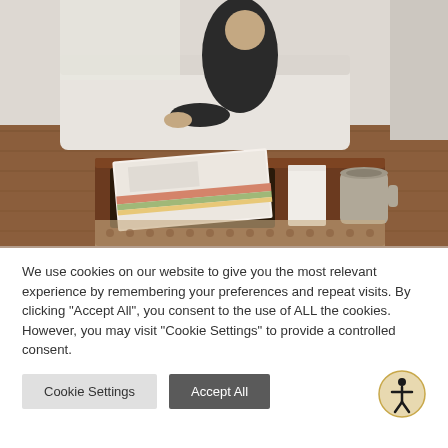[Figure (photo): A lifestyle photo showing a woman sitting on a couch/floor near a wooden coffee table. On the table is a large book or magazine, a small candle, a grey/tan mug, and what appears to be cookies or snacks on a tray. The scene suggests a cozy home interior setting.]
We use cookies on our website to give you the most relevant experience by remembering your preferences and repeat visits. By clicking "Accept All", you consent to the use of ALL the cookies. However, you may visit "Cookie Settings" to provide a controlled consent.
Cookie Settings | Accept All